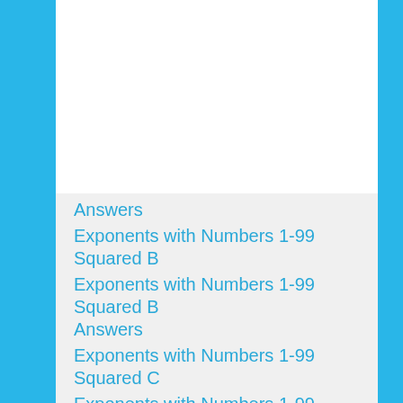Answers
Exponents with Numbers 1-99 Squared B
Exponents with Numbers 1-99 Squared B Answers
Exponents with Numbers 1-99 Squared C
Exponents with Numbers 1-99 Squared C Answers
Exponents with Numbers 1-20 Cubed A
Exponents with Numbers 1-20 Cubed A Answers
Exponents with Numbers 1-20 Cubed B
Exponents with Numbers 1-20 Cubed B Answers
Exponents with Numbers 1-20 Cubed C